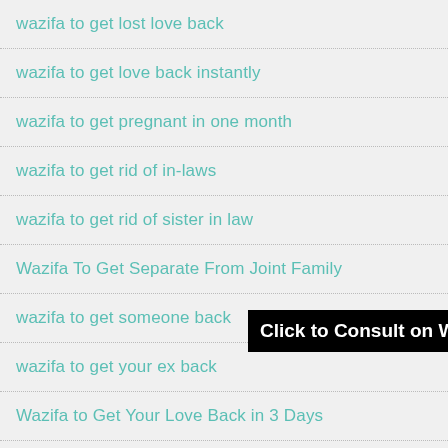wazifa to get lost love back
wazifa to get love back instantly
wazifa to get pregnant in one month
wazifa to get rid of in-laws
wazifa to get rid of sister in law
Wazifa To Get Separate From Joint Family
wazifa to get someone back
wazifa to get your ex back
Wazifa to Get Your Love Back in 3 Days
Wazifa To Increase Breast Size
[Figure (screenshot): Black overlay banner with white bold text: Click to Consult on Whatsapp]